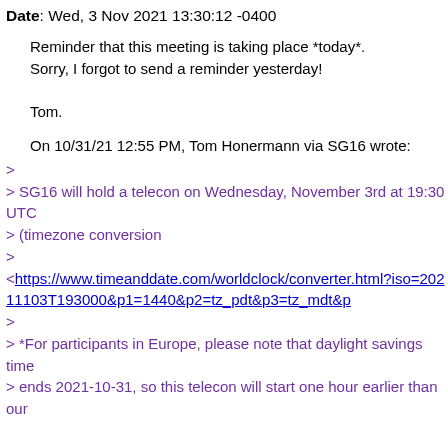Date: Wed, 3 Nov 2021 13:30:12 -0400
Reminder that this meeting is taking place *today*.
Sorry, I forgot to send a reminder yesterday!

Tom.
On 10/31/21 12:55 PM, Tom Honermann via SG16 wrote:
>
> SG16 will hold a telecon on Wednesday, November 3rd at 19:30 UTC
> (timezone conversion
>
<https://www.timeanddate.com/worldclock/converter.html?iso=20211103T193000&p1=1440&p2=tz_pdt&p3=tz_mdt&
>
> *For participants in Europe, please note that daylight savings time
> ends 2021-10-31, so this telecon will start one hour earlier than our